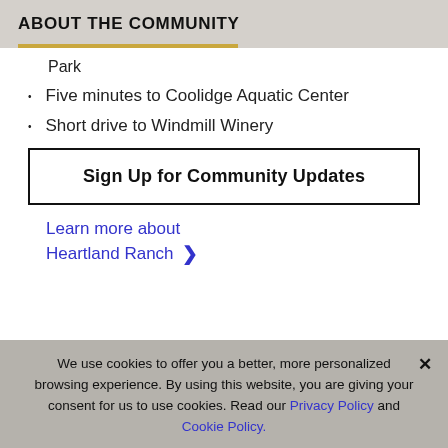ABOUT THE COMMUNITY
Park
Five minutes to Coolidge Aquatic Center
Short drive to Windmill Winery
Sign Up for Community Updates
Learn more about Heartland Ranch ❯
We use cookies to offer you a better, more personalized browsing experience. By using this website, you are giving your consent for us to use cookies. Read our Privacy Policy and Cookie Policy.